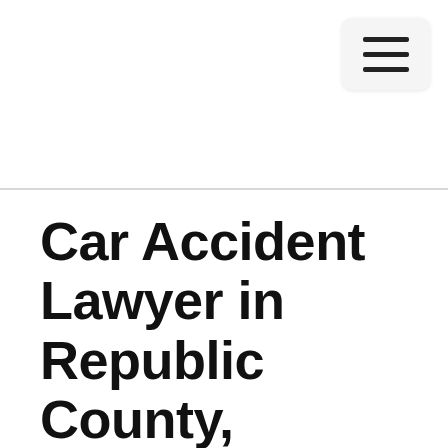[Figure (other): Hamburger menu button icon with three horizontal lines on a light gray rounded rectangle background, positioned top-right of the header.]
Car Accident Lawyer in Republic County, Kansas
A number of experiences make the mix of anxiety, confusion, and stress that outcomes from a car accident. So much occurs at the